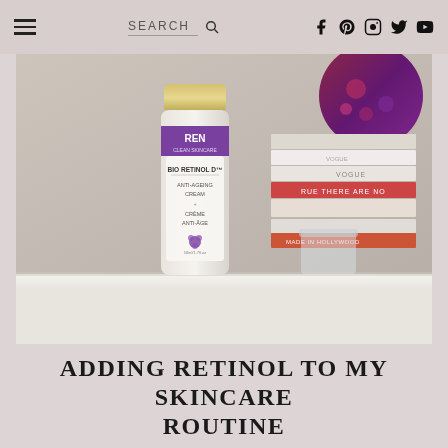SEARCH
[Figure (photo): REN Clean Skincare Bio Retinol Anti-Ageing Cream bottle on a white shelf next to a stack of books including Vogue, with a decorative purple/red candle in background and a clear glass jar]
ADDING RETINOL TO MY SKINCARE ROUTINE
BEAUTY BITS, BEAUTY REVIEWS, NIGHTLY SKINCARE ROUTINE, REN, RETINOL, SKINCARE |